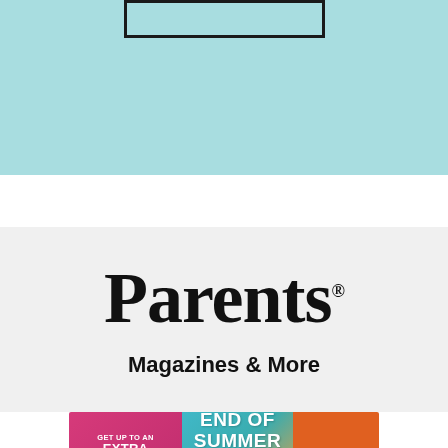[Figure (illustration): Light teal/cyan background section at top with a rectangular outlined box (border rectangle) centered near the top]
[Figure (logo): Parents magazine logo in large bold serif font reading 'Parents.' with registered trademark symbol, on light gray background, with 'Magazines & More' subtitle below in bold sans-serif]
[Figure (illustration): Promotional banner advertisement: left pink section reads 'GET UP TO AN EXTRA 50% OFF', middle gradient teal-to-orange section reads 'END OF SUMMER SALE-A-THON', right orange button reads 'SHOP NOW']